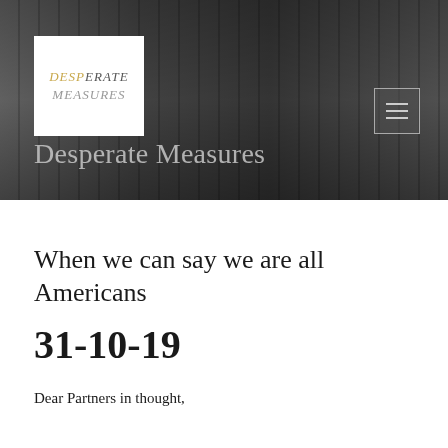[Figure (photo): Blurred black-and-white photo of a bookshelf with books in the background, used as hero banner image]
DESPERATE MEASURES
Desperate Measures
When we can say we are all Americans
31-10-19
Dear Partners in thought,